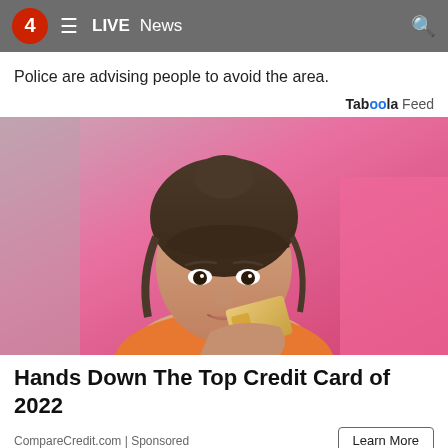4 ≡ LIVE News 🔍
Police are advising people to avoid the area.
Taboola Feed
[Figure (photo): Woman with dark hair in a bun, wearing an orange top, holding a gold/beige card in front of her face, against a pink background]
Hands Down The Top Credit Card of 2022
CompareCredit.com | Sponsored
Learn More